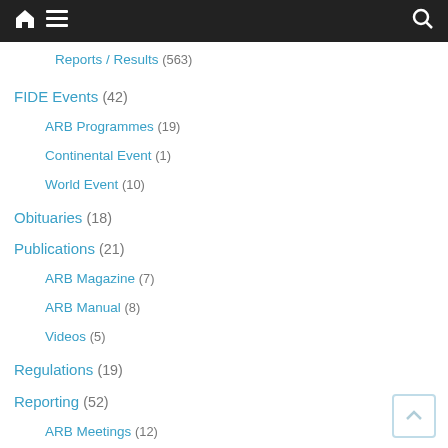Navigation bar with home, menu, and search icons
Reports / Results (563)
FIDE Events (42)
ARB Programmes (19)
Continental Event (1)
World Event (10)
Obituaries (18)
Publications (21)
ARB Magazine (7)
ARB Manual (8)
Videos (5)
Regulations (19)
Reporting (52)
ARB Meetings (12)